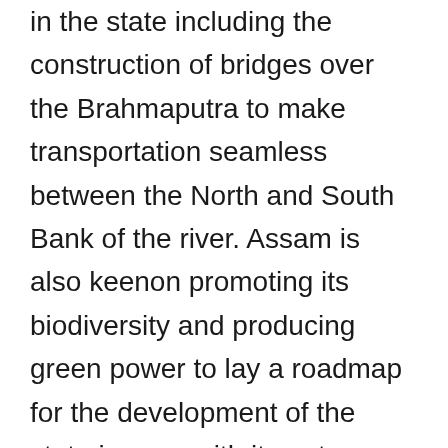in the state including the construction of bridges over the Brahmaputra to make transportation seamless between the North and South Bank of the river. Assam is also keenon promoting its biodiversity and producing green power to lay a roadmap for the development of the state in sync with its nature. Under UDAN International the state will be connected to at least six countries of the ASEAN bloc. So, Assam has presented a congenial atmosphere for large scale investment, as the Government of Assam is very eager to start a new economic collaboration with ASEAN countries," the